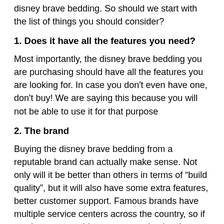disney brave bedding. So should we start with the list of things you should consider?
1. Does it have all the features you need?
Most importantly, the disney brave bedding you are purchasing should have all the features you are looking for. In case you don't even have one, don't buy! We are saying this because you will not be able to use it for that purpose
2. The brand
Buying the disney brave bedding from a reputable brand can actually make sense. Not only will it be better than others in terms of “build quality”, but it will also have some extra features, better customer support. Famous brands have multiple service centers across the country, so if you have any problems you can simply take your disney brave bedding to one of their service centers.
3. Budget and price matching